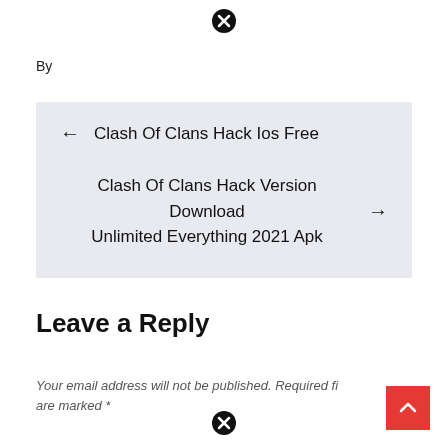[Figure (other): Close/X button icon circle at top center]
By
← Clash Of Clans Hack Ios Free
Clash Of Clans Hack Version Download Unlimited Everything 2021 Apk →
Leave a Reply
Your email address will not be published. Required fi are marked *
[Figure (other): Close/X button icon circle at bottom center]
[Figure (other): Back to top red button with upward chevron]